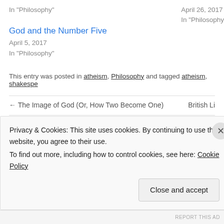In "Philosophy"
April 26, 2017
In "Philosophy"
God and the Number Five
April 5, 2017
In "Philosophy"
This entry was posted in atheism, Philosophy and tagged atheism, shakespe…
← The Image of God (Or, How Two Become One)   British Li…
Leave a Reply
Your email address will not be published. Required fields…
Privacy & Cookies: This site uses cookies. By continuing to use this website, you agree to their use.
To find out more, including how to control cookies, see here: Cookie Policy